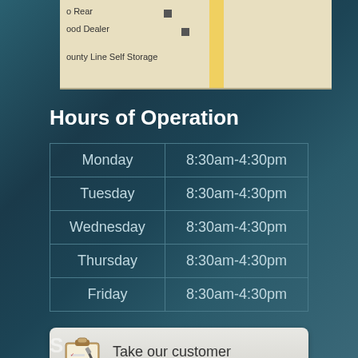[Figure (map): Partial map view showing location with road and markers for 'ood Dealer' and 'ounty Line Self Storage']
Hours of Operation
| Day | Hours |
| --- | --- |
| Monday | 8:30am-4:30pm |
| Tuesday | 8:30am-4:30pm |
| Wednesday | 8:30am-4:30pm |
| Thursday | 8:30am-4:30pm |
| Friday | 8:30am-4:30pm |
[Figure (infographic): Customer Service Survey button with clipboard icon. Text reads: Take our customer Service Survey]
S...